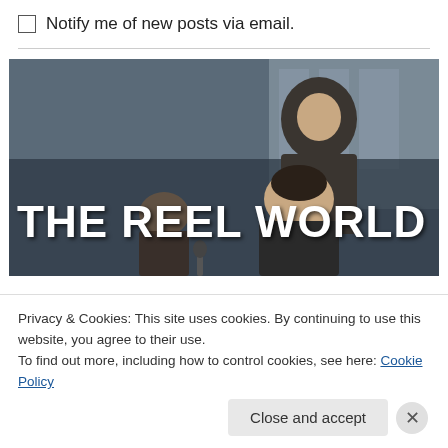Notify me of new posts via email.
[Figure (photo): Movie still showing two men in business suits in an office setting, with bold white text overlay reading 'THE REEL WORLD']
Privacy & Cookies: This site uses cookies. By continuing to use this website, you agree to their use. To find out more, including how to control cookies, see here: Cookie Policy
Close and accept